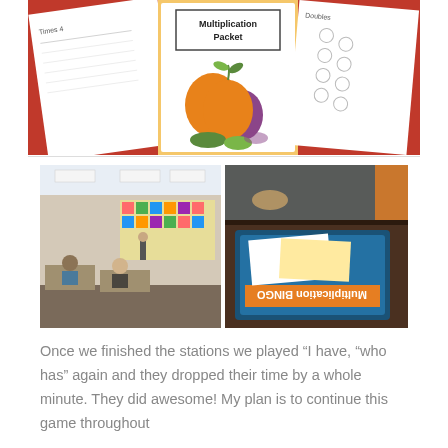[Figure (photo): Multiplication packet worksheet pages fanned out with a fall/autumn themed cover showing pumpkins and the title 'Multiplication Packet', alongside pages with math problems including 'Times 4' and 'Doubles' worksheets.]
[Figure (photo): Two classroom photos side by side: left shows students seated at desks working in a classroom with colorful wall displays; right shows a close-up of a 'Multiplication BINGO' board game on a table with student hands visible.]
Once we finished the stations we played “I have, “who has” again and they dropped their time by a whole minute. They did awesome! My plan is to continue this game throughout